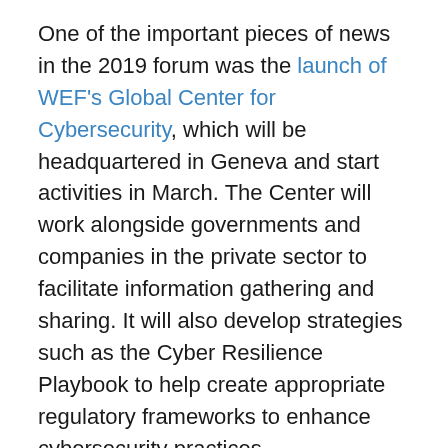One of the important pieces of news in the 2019 forum was the launch of WEF's Global Center for Cybersecurity, which will be headquartered in Geneva and start activities in March. The Center will work alongside governments and companies in the private sector to facilitate information gathering and sharing. It will also develop strategies such as the Cyber Resilience Playbook to help create appropriate regulatory frameworks to enhance cybersecurity practices.
Also touching on sensitive topics, German Chancellor Angela Merkel spoke about the urgency with which governments need to act in taking care of data privacy. Germany is a major defender of the EU's General Data Protection Regulation (GDPR) and has a strict set of social media rules. The Chancellor emphasised the intrinsic value of data in the current global